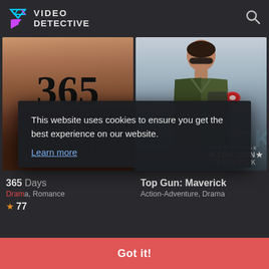[Figure (screenshot): Video Detective website header with logo and search icon]
[Figure (photo): Movie poster for 365 Days showing the number 365 and DAYS text over dark romantic imagery]
[Figure (photo): Movie poster for Top Gun: Maverick showing a man in military flight suit with MAVERICK watermark text]
365 Days
Drama, Romance
77
This website uses cookies to ensure you get the best experience on our website.
Learn more
Got it!
Top Gun: Maverick
Action-Adventure, Drama